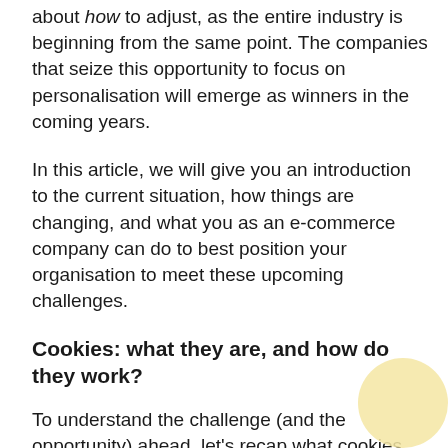about how to adjust, as the entire industry is beginning from the same point. The companies that seize this opportunity to focus on personalisation will emerge as winners in the coming years.
In this article, we will give you an introduction to the current situation, how things are changing, and what you as an e-commerce company can do to best position your organisation to meet these upcoming challenges.
Cookies: what they are, and how do they work?
To understand the challenge (and the opportunity) ahead, let's recap what cookies are